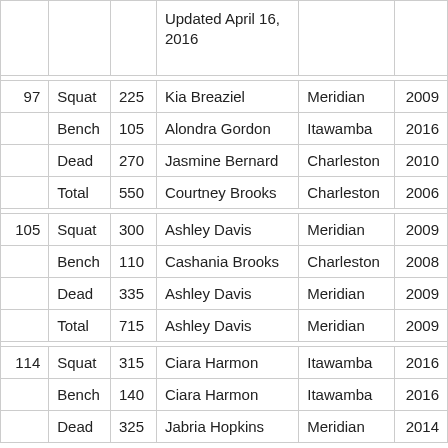|  |  |  | Updated April 16, 2016 |  |  |
| --- | --- | --- | --- | --- | --- |
| 97 | Squat | 225 | Kia Breaziel | Meridian | 2009 |
|  | Bench | 105 | Alondra Gordon | Itawamba | 2016 |
|  | Dead | 270 | Jasmine Bernard | Charleston | 2010 |
|  | Total | 550 | Courtney Brooks | Charleston | 2006 |
| 105 | Squat | 300 | Ashley Davis | Meridian | 2009 |
|  | Bench | 110 | Cashania Brooks | Charleston | 2008 |
|  | Dead | 335 | Ashley Davis | Meridian | 2009 |
|  | Total | 715 | Ashley Davis | Meridian | 2009 |
| 114 | Squat | 315 | Ciara Harmon | Itawamba | 2016 |
|  | Bench | 140 | Ciara Harmon | Itawamba | 2016 |
|  | Dead | 325 | Jabria Hopkins | Meridian | 2014 |